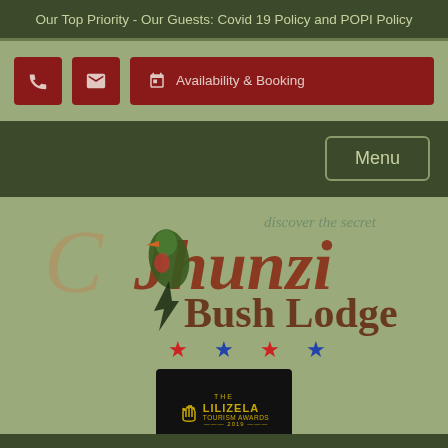Our Top Priority - Our Guests: Covid 19 Policy and POPI Policy
[Figure (screenshot): Navigation bar with phone icon button, email icon button, and Availability & Booking button (dark red), plus Menu button on dark green bar]
[Figure (logo): Jhunzi Bush Lodge logo with green bird (Knysna Turaco), 'discover the secret' tagline, 'Jhunzi' in rust/brown script, 'Bush Lodge' text, and four stars (red, blue, red, blue) below]
[Figure (logo): The Lilizela Tourism Awards 2019 badge on black background with golden hand logo]